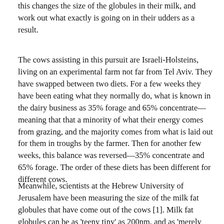this changes the size of the globules in their milk, and work out what exactly is going on in their udders as a result.
The cows assisting in this pursuit are Israeli-Holsteins, living on an experimental farm not far from Tel Aviv. They have swapped between two diets. For a few weeks they have been eating what they normally do, what is known in the dairy business as 35% forage and 65% concentrate—meaning that that a minority of what their energy comes from grazing, and the majority comes from what is laid out for them in troughs by the farmer. Then for another few weeks, this balance was reversed—35% concentrate and 65% forage. The order of these diets has been different for different cows.
Meanwhile, scientists at the Hebrew University of Jerusalem have been measuring the size of the milk fat globules that have come out of the cows [1]. Milk fat globules can be as 'teeny tiny' as 200nm, and as 'merely tiny' as 15um, which is